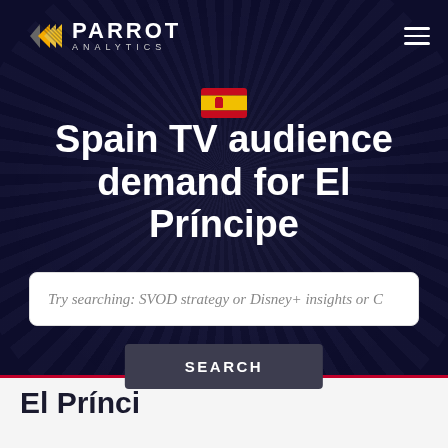[Figure (logo): Parrot Analytics logo with triangular arrow icon in gold/yellow and white text]
[Figure (illustration): Spanish flag emoji]
Spain TV audience demand for El Príncipe
Try searching: SVOD strategy or Disney+ insights or C
SEARCH
El Prínci...